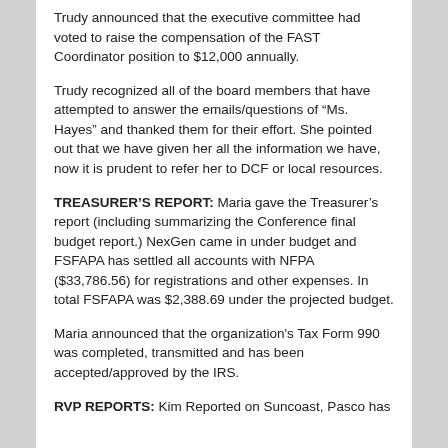Trudy announced that the executive committee had voted to raise the compensation of the FAST Coordinator position to $12,000 annually.
Trudy recognized all of the board members that have attempted to answer the emails/questions of “Ms. Hayes” and thanked them for their effort. She pointed out that we have given her all the information we have, now it is prudent to refer her to DCF or local resources.
TREASURER’S REPORT: Maria gave the Treasurer’s report (including summarizing the Conference final budget report.) NexGen came in under budget and FSFAPA has settled all accounts with NFPA ($33,786.56) for registrations and other expenses. In total FSFAPA was $2,388.69 under the projected budget.
Maria announced that the organization's Tax Form 990 was completed, transmitted and has been accepted/approved by the IRS.
RVP REPORTS: Kim Reported on Suncoast, Pasco has